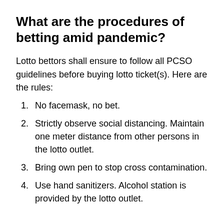What are the procedures of betting amid pandemic?
Lotto bettors shall ensure to follow all PCSO guidelines before buying lotto ticket(s). Here are the rules:
No facemask, no bet.
Strictly observe social distancing. Maintain one meter distance from other persons in the lotto outlet.
Bring own pen to stop cross contamination.
Use hand sanitizers. Alcohol station is provided by the lotto outlet.